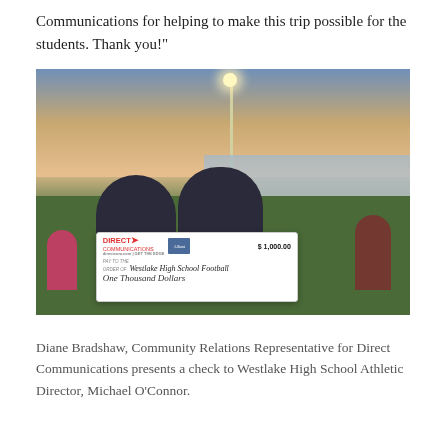Communications for helping to make this trip possible for the students. Thank you!"
[Figure (photo): Two people (a woman and a man) standing on a football field at dusk, holding a large ceremonial check from Direct Communications made out to Westlake High School Football for $1,000.00 (One Thousand Dollars). A marching band is visible in the background along with stadium lights and bleachers.]
Diane Bradshaw, Community Relations Representative for Direct Communications presents a check to Westlake High School Athletic Director, Michael O'Connor.